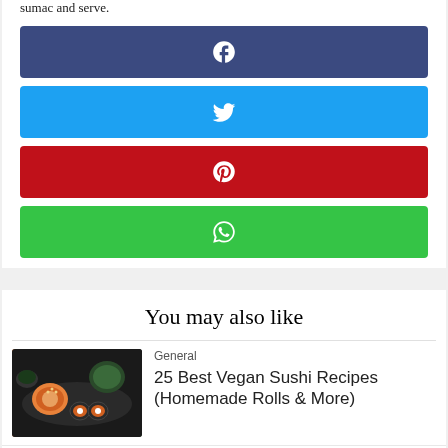sumac and serve.
[Figure (infographic): Social share buttons: Facebook (blue-purple), Twitter (blue), Pinterest (red), WhatsApp (green), each with respective icon centered]
You may also like
[Figure (photo): Photo of sushi rolls with salmon, maki rolls, and green garnish on dark slate]
General
25 Best Vegan Sushi Recipes (Homemade Rolls & More)
[Figure (photo): Photo of vegetable dish with colorful ingredients]
General